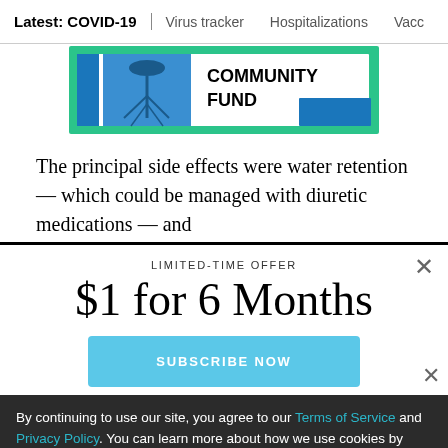Latest: COVID-19 | Virus tracker | Hospitalizations | Vacci
[Figure (illustration): Community Fund logo with green border, blue background, tree roots image, and bold text reading COMMUNITY FUND]
The principal side effects were water retention — which could be managed with diuretic medications — and
LIMITED-TIME OFFER
$1 for 6 Months
SUBSCRIBE NOW
By continuing to use our site, you agree to our Terms of Service and Privacy Policy. You can learn more about how we use cookies by reviewing our Privacy Policy. Close